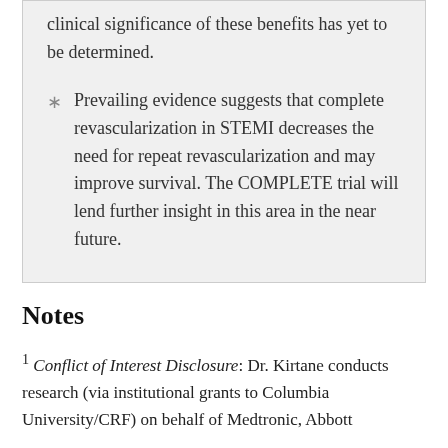clinical significance of these benefits has yet to be determined.
Prevailing evidence suggests that complete revascularization in STEMI decreases the need for repeat revascularization and may improve survival. The COMPLETE trial will lend further insight in this area in the near future.
Notes
1 Conflict of Interest Disclosure: Dr. Kirtane conducts research (via institutional grants to Columbia University/CRF) on behalf of Medtronic, Abbott